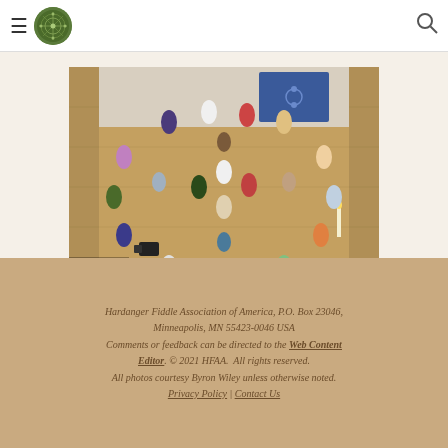Navigation header with hamburger menu, HFAA logo, and search icon
[Figure (photo): Aerial view of a large group of fiddle players standing in a circular formation in a hall, playing Hardanger fiddles. Wooden floor visible, decorative tapestry on wall in background.]
Hardanger Fiddle Association of America, P.O. Box 23046, Minneapolis, MN 55423-0046 USA Comments or feedback can be directed to the Web Content Editor. © 2021 HFAA. All rights reserved. All photos courtesy Byron Wiley unless otherwise noted. Privacy Policy | Contact Us